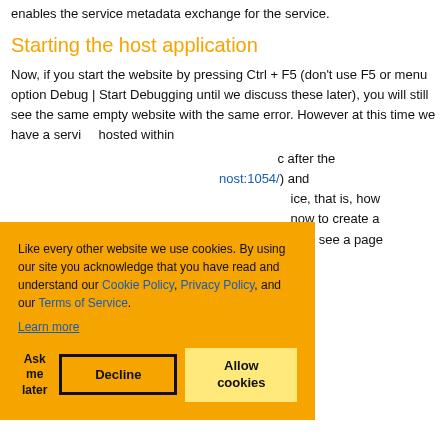enables the service metadata exchange for the service.
Starting the host application
Now, if you start the website by pressing Ctrl + F5 (don't use F5 or menu option Debug | Start Debugging until we discuss these later), you will still see the same empty website with the same error. However at this time we have a service hosted within
c after the host:1054/) and ice, that is, how now to create a ould see a page
Like every other website we use cookies. By using our site you acknowledge that you have read and understand our Cookie Policy, Privacy Policy, and our Terms of Service. Learn more
Ask me later  Decline  Allow cookies